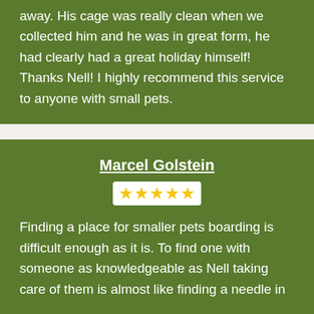away. His cage was really clean when we collected him and he was in great form, he had clearly had a great holiday himself! Thanks Nell! I highly recommend this service to anyone with small pets.
Marcel Golstein
★★★★★
Finding a place for smaller pets boarding is difficult enough as it is. To find one with someone as knowledgeable as Nell taking care of them is almost like finding a needle in